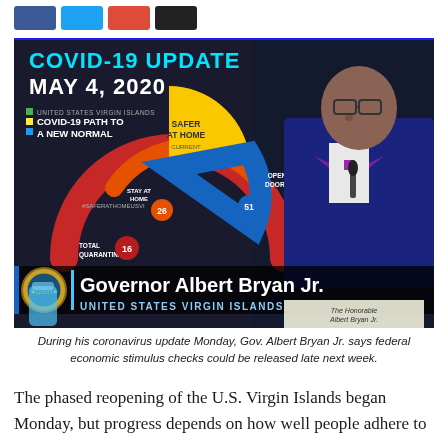[Figure (screenshot): Screenshot of COVID-19 Update press conference, dated May 4, 2020. Shows Governor Albert Bryan Jr. of the United States Virgin Islands at a podium with a COVID-19 PATH TO A NEW NORMAL infographic behind him showing phases including Total Quarantine, Stay at Home, Safer at Home, and Open Doors. Lower third reads 'Governor Albert Bryan Jr. / UNITED STATES VIRGIN ISLANDS'. A nameplate reads 'The Honorable Albert Bryan Jr. Governor'.]
During his coronavirus update Monday, Gov. Albert Bryan Jr. says federal economic stimulus checks could be released late next week.
The phased reopening of the U.S. Virgin Islands began Monday, but progress depends on how well people adhere to